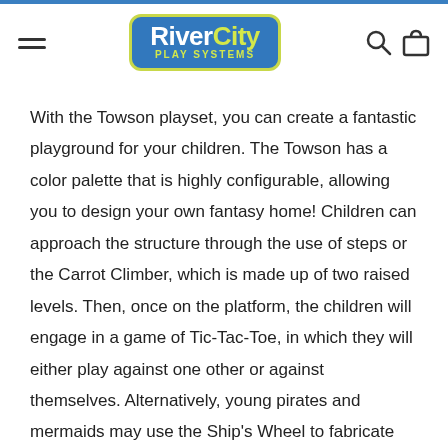RiverCity Play Systems
With the Towson playset, you can create a fantastic playground for your children. The Towson has a color palette that is highly configurable, allowing you to design your own fantasy home! Children can approach the structure through the use of steps or the Carrot Climber, which is made up of two raised levels. Then, once on the platform, the children will engage in a game of Tic-Tac-Toe, in which they will either play against one other or against themselves. Alternatively, young pirates and mermaids may use the Ship's Wheel to fabricate fictional worlds on the high seas by spinning the wheel. A Right Turn Slide and a Double Slide give lots of opportunities for physical